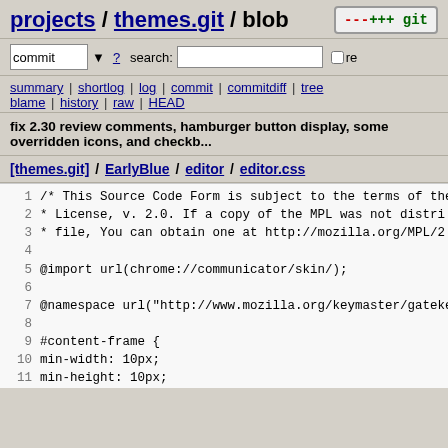projects / themes.git / blob
commit ? search: re
summary | shortlog | log | commit | commitdiff | tree blame | history | raw | HEAD
fix 2.30 review comments, hamburger button display, some overridden icons, and checkb...
[themes.git] / EarlyBlue / editor / editor.css
1 /* This Source Code Form is subject to the terms of the
2  * License, v. 2.0. If a copy of the MPL was not distri
3  * file, You can obtain one at http://mozilla.org/MPL/2
4
5 @import url(chrome://communicator/skin/);
6
7 @namespace url("http://www.mozilla.org/keymaster/gateke
8
9 #content-frame {
10   min-width: 10px;
11   min-height: 10px;
12   height: 400px;
13 }
14
15 .source-editor,
16 .source-editor:focus {
17   margin-top: 0px;
18   margin-bottom: 5px;